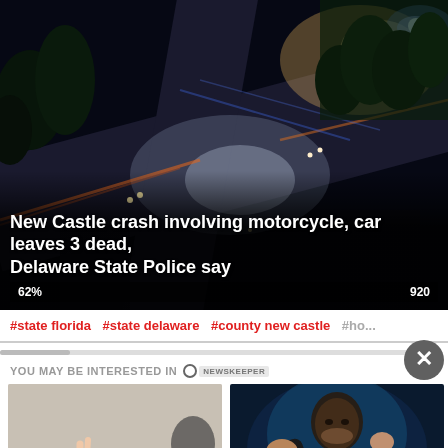[Figure (photo): Aerial night view of a road intersection with lights and cars, dark background with orange/blue light streaks]
New Castle crash involving motorcycle, car leaves 3 dead, Delaware State Police say
62% ... 920
#state florida  #state delaware  #county new castle  #ho...
YOU MAY BE INTERESTED IN
[Figure (photo): Person doing a glute bridge exercise on a black mat in a gym, wearing pink shorts]
Get In Shape Without Setting Foot In A Gym
[Figure (photo): Man with long hair in a fighting pose against a blue/teal background, resembling a movie still]
Where The Cast Who Made The Matrix Movie Possible Is Today